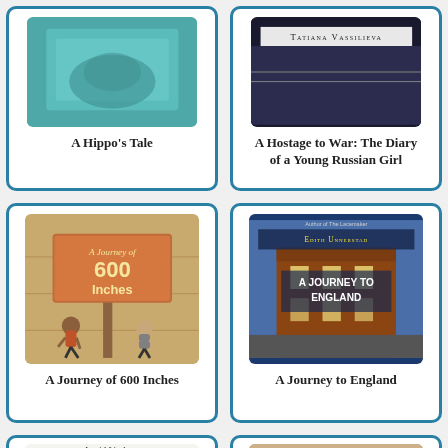[Figure (illustration): Book cover of A Hippo's Tale - teal/green cover shown partially at top]
A Hippo's Tale
[Figure (illustration): Book cover of A Hostage to War: The Diary of a Young Russian Girl by Tatiana Vassilieva]
A Hostage to War: The Diary of a Young Russian Girl
[Figure (illustration): Book cover of A Journey of 600 Inches showing two children running under a sign reading A Journey of 600 Inches]
A Journey of 600 Inches
[Figure (illustration): Book cover of A Journey to England by Edith Unnerstad showing a colorful street scene]
A Journey to England
[Figure (illustration): Book cover of a Kalle Blomkvist Mystery by Astrid Lindgren, partially visible at bottom]
[Figure (illustration): Partial book cover visible at bottom right]